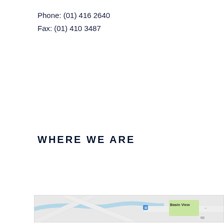Phone: (01) 416 2640
Fax: (01) 410 3487
WHERE WE ARE
[Figure (map): A map snippet showing roads, a river/waterway in blue, and a green area labeled 'Basin View'. Roads intersect diagonally. A small blue location pin icon is visible near center.]